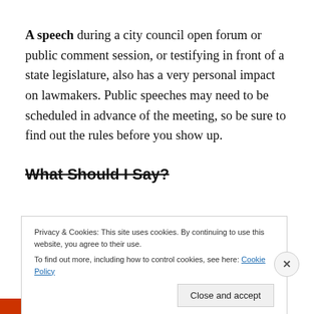A speech during a city council open forum or public comment session, or testifying in front of a state legislature, also has a very personal impact on lawmakers. Public speeches may need to be scheduled in advance of the meeting, so be sure to find out the rules before you show up.
What Should I Say?
Privacy & Cookies: This site uses cookies. By continuing to use this website, you agree to their use.
To find out more, including how to control cookies, see here: Cookie Policy